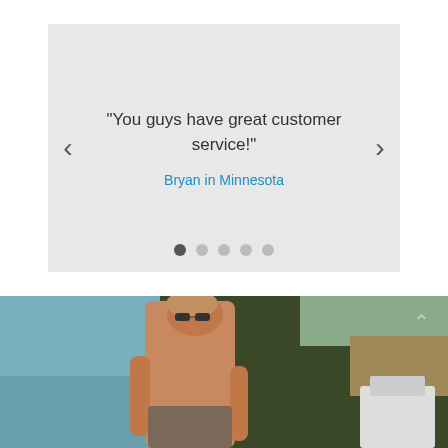"You guys have great customer service!"
Bryan in Minnesota
[Figure (photo): Outdoor photo of a shirtless man with light hair near a body of water, with trees and a white boat visible in the background]